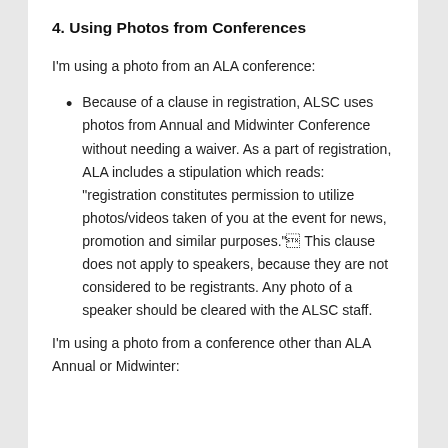4. Using Photos from Conferences
I'm using a photo from an ALA conference:
Because of a clause in registration, ALSC uses photos from Annual and Midwinter Conference without needing a waiver. As a part of registration, ALA includes a stipulation which reads: “registration constitutes permission to utilize photos/videos taken of you at the event for news, promotion and similar purposes.”² This clause does not apply to speakers, because they are not considered to be registrants. Any photo of a speaker should be cleared with the ALSC staff.
I’m using a photo from a conference other than ALA Annual or Midwinter: